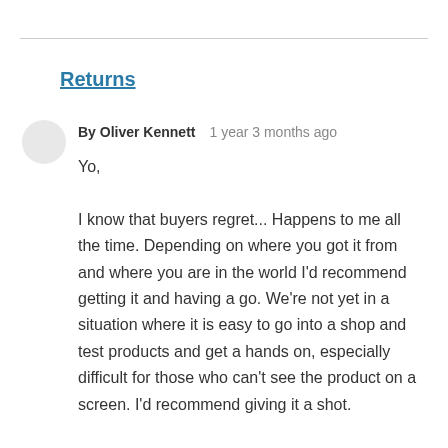Returns
By Oliver Kennett    1 year 3 months ago
Yo,

I know that buyers regret... Happens to me all the time. Depending on where you got it from and where you are in the world I'd recommend getting it and having a go. We're not yet in a situation where it is easy to go into a shop and test products and get a hands on, especially difficult for those who can't see the product on a screen. I'd recommend giving it a shot.